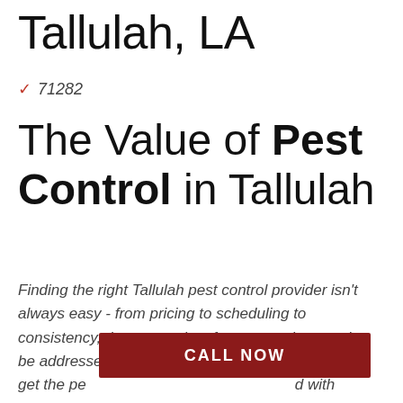Tallulah, LA
✓ 71282
The Value of Pest Control in Tallulah
Finding the right Tallulah pest control provider isn't always easy - from pricing to scheduling to consistency, there are a lot of concerns that need to be addressed. With the right service provider, you'll get the pe... d with Termini, we're here to do just that.
CALL NOW